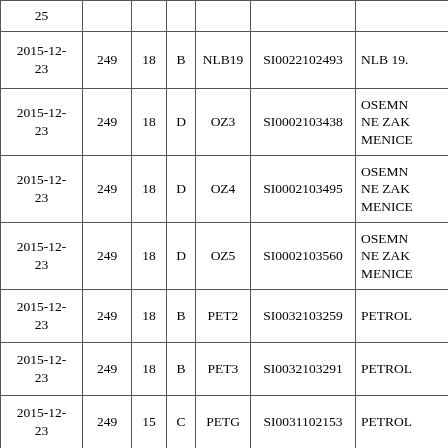| Date |  |  |  |  | ISIN | Name |
| --- | --- | --- | --- | --- | --- | --- |
| 25 |  |  |  |  |  |  |
| 2015-12-23 | 249 | 18 | B | NLB19 | SI0022102493 | NLB 19. |
| 2015-12-23 | 249 | 18 | D | OZ3 | SI0002103438 | OSEMN NE ZAK MENICE |
| 2015-12-23 | 249 | 18 | D | OZ4 | SI0002103495 | OSEMN NE ZAK MENICE |
| 2015-12-23 | 249 | 18 | D | OZ5 | SI0002103560 | OSEMN NE ZAK MENICE |
| 2015-12-23 | 249 | 18 | B | PET2 | SI0032103259 | PETROL |
| 2015-12-23 | 249 | 18 | B | PET3 | SI0032103291 | PETROL |
| 2015-12-23 | 249 | 15 | C | PETG | SI0031102153 | PETROL |
| 2015-12-23 | 249 | 16 | C | PILR | SI0031107418 | PIVOVA |
| 2015-12- |  |  |  |  |  |  |